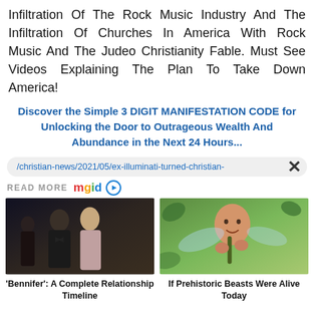Infiltration Of The Rock Music Industry And The Infiltration Of Churches In America With Rock Music And The Judeo Christianity Fable. Must See Videos Explaining The Plan To Take Down America!
Discover the Simple 3 DIGIT MANIFESTATION CODE for Unlocking the Door to Outrageous Wealth And Abundance in the Next 24 Hours...
/christian-news/2021/05/ex-illuminati-turned-christian-
READ MORE mgid
[Figure (photo): Celebrity couple at formal event]
'Bennifer': A Complete Relationship Timeline
[Figure (photo): Man handling a large dragonfly or insect outdoors]
If Prehistoric Beasts Were Alive Today